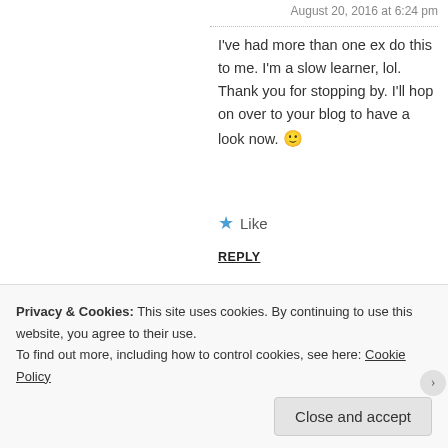August 20, 2016 at 6:24 pm
I've had more than one ex do this to me. I'm a slow learner, lol. Thank you for stopping by. I'll hop on over to your blog to have a look now. 🙂
Like
REPLY
Blue Sky said: August 20, 2016 at 1:19 pm
This was so powerful! I have experienced this by several people. It is torture and a very cruel form of
Privacy & Cookies: This site uses cookies. By continuing to use this website, you agree to their use.
To find out more, including how to control cookies, see here: Cookie Policy
Close and accept